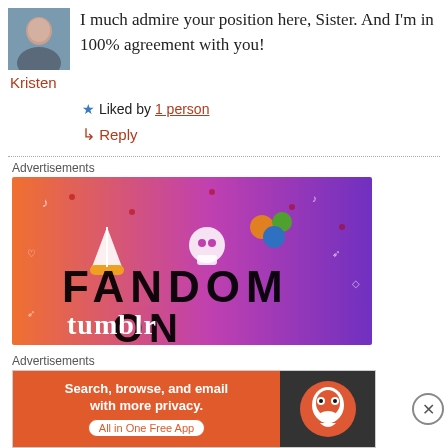[Figure (photo): Small avatar photo of a person]
I much admire your position here, Sister. And I'm in 100% agreement with you!
Kristen
★ Liked by 1 person
↳ Reply
Advertisements
[Figure (photo): Fandom on Tumblr advertisement with colorful gradient background in orange and purple, featuring a sailboat sticker, skull, dice, and text reading FANDOM ON tumblr]
Advertisements
[Figure (photo): DuckDuckGo advertisement: Search, browse, and email with more privacy. All in One Free App. DuckDuckGo logo on dark background.]